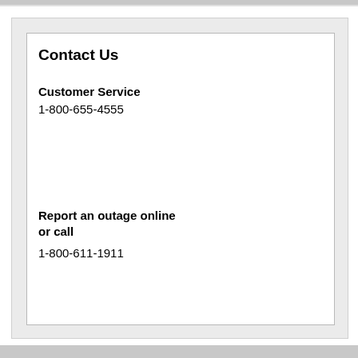Contact Us
Customer Service
1-800-655-4555
Report an outage online or call
1-800-611-1911